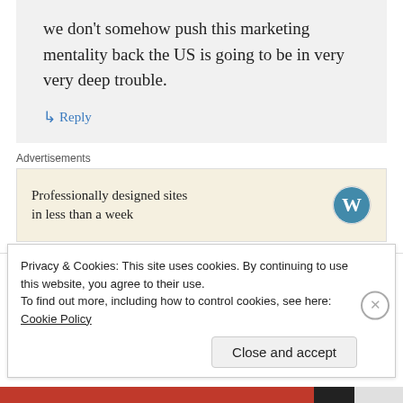we don't somehow push this marketing mentality back the US is going to be in very very deep trouble.
↳ Reply
Advertisements
Professionally designed sites in less than a week
eniaiometopopaideias on June 13, 2015 at 7:13 pm
Privacy & Cookies: This site uses cookies. By continuing to use this website, you agree to their use.
To find out more, including how to control cookies, see here: Cookie Policy
Close and accept